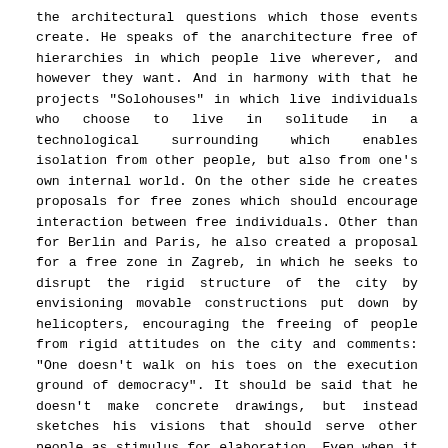the architectural questions which those events create. He speaks of the anarchitecture free of hierarchies in which people live wherever, and however they want. And in harmony with that he projects "Solohouses" in which live individuals who choose to live in solitude in a technological surrounding which enables isolation from other people, but also from one's own internal world. On the other side he creates proposals for free zones which should encourage interaction between free individuals. Other than for Berlin and Paris, he also created a proposal for a free zone in Zagreb, in which he seeks to disrupt the rigid structure of the city by envisioning movable constructions put down by helicopters, encouraging the freeing of people from rigid attitudes on the city and comments: "One doesn't walk on his toes on the execution ground of democracy". It should be said that he doesn't make concrete drawings, but instead sketches his visions that should serve other people as stimulus for elaboration. Even when it comes to models he lets the people creating the model do it at their own discretion. In 1993, during the siege of Sarajevo he stayed inside the city working on breaking the cultural embargo and giving suggestions on what he called "Radical Reconstruction". He believes that it's wrong to satisfy the wishes for the city to look the same as before the destruction, considering that the city changed